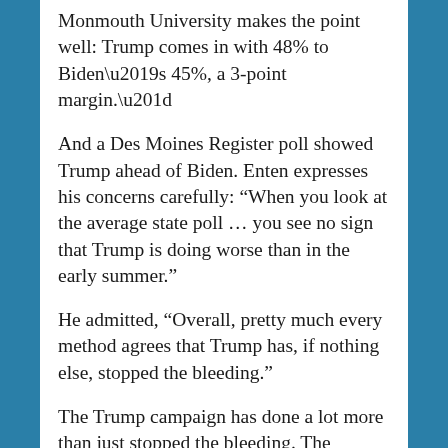Monmouth University makes the point well: Trump comes in with 48% to Biden’s 45%, a 3-point margin.”
And a Des Moines Register poll showed Trump ahead of Biden. Enten expresses his concerns carefully: “When you look at the average state poll … you see no sign that Trump is doing worse than in the early summer.”
He admitted, “Overall, pretty much every method agrees that Trump has, if nothing else, stopped the bleeding.”
The Trump campaign has done a lot more than just stopped the bleeding. The “bleeding” was never real. When pollster John McLaughlin was hired by President Trump to confirm his suspicions that something was wrong with most of the mainline poll results, McLaughlin concluded: